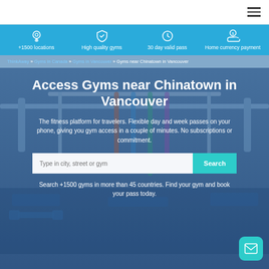Navigation bar with hamburger menu
+1500 locations | High quality gyms | 30 day valid pass | Home currency payment
ThinkAway » Gyms in Canada » Gyms in Vancouver » Gyms near Chinatown in Vancouver
Access Gyms near Chinatown in Vancouver
The fitness platform for travelers. Flexible day and week passes on your phone, giving you gym access in a couple of minutes. No subscriptions or commitment.
Type in city, street or gym — Search
Search +1500 gyms in more than 45 countries. Find your gym and book your pass today.